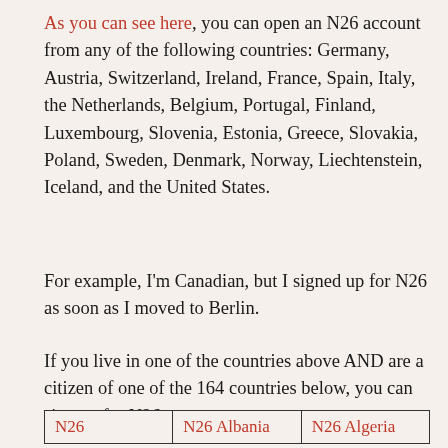As you can see here, you can open an N26 account from any of the following countries: Germany, Austria, Switzerland, Ireland, France, Spain, Italy, the Netherlands, Belgium, Portugal, Finland, Luxembourg, Slovenia, Estonia, Greece, Slovakia, Poland, Sweden, Denmark, Norway, Liechtenstein, Iceland, and the United States.
For example, I'm Canadian, but I signed up for N26 as soon as I moved to Berlin.
If you live in one of the countries above AND are a citizen of one of the 164 countries below, you can sign up for N26:
| N26 | N26 Albania | N26 Algeria |
| --- | --- | --- |